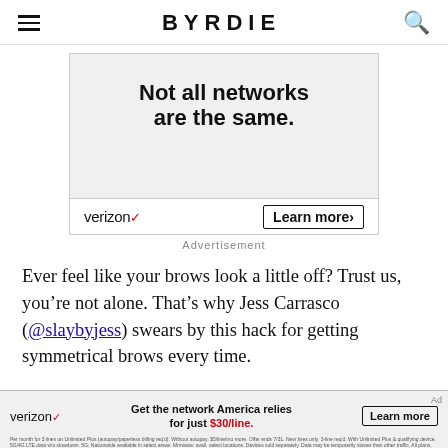BYRDIE
[Figure (other): Verizon advertisement: 'Not all networks are the same.' with Verizon logo and Learn more button]
Advertisement
Ever feel like your brows look a little off? Trust us, you’re not alone. That’s why Jess Carrasco (@slaybyjess) swears by this hack for getting symmetrical brows every time.
[Figure (other): Verizon advertisement: Get the network America relies for just $30/line.]